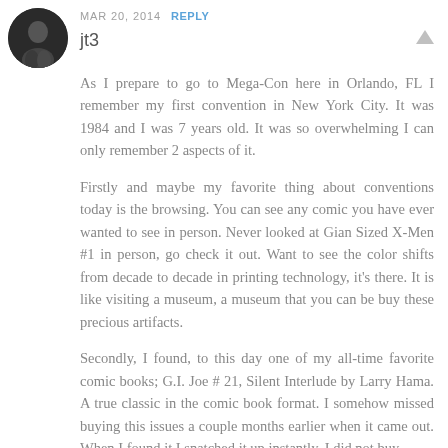[Figure (photo): Circular avatar photo of a person, dark tones]
MAR 20, 2014  REPLY
jt3
As I prepare to go to Mega-Con here in Orlando, FL I remember my first convention in New York City. It was 1984 and I was 7 years old. It was so overwhelming I can only remember 2 aspects of it.
Firstly and maybe my favorite thing about conventions today is the browsing. You can see any comic you have ever wanted to see in person. Never looked at Gian Sized X-Men #1 in person, go check it out. Want to see the color shifts from decade to decade in printing technology, it's there. It is like visiting a museum, a museum that you can be buy these precious artifacts.
Secondly, I found, to this day one of my all-time favorite comic books; G.I. Joe # 21, Silent Interlude by Larry Hama. A true classic in the comic book format. I somehow missed buying this issues a couple months earlier when it came out. When I found it I snatched it up instantly. I did not buy